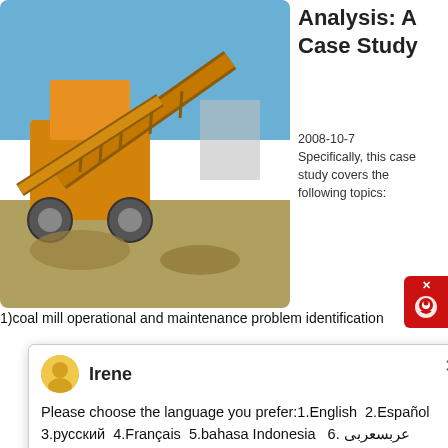[Figure (photo): Yellow heavy mining/crushing machinery on a construction site with blue sky background]
Analysis: A Case Study
2008-10-7
Specifically, this case study covers the following topics:
1)coal mill operational and maintenance problem identification
[Figure (screenshot): Chat popup from Irene asking user to choose language: 1.English 2.Español 3.русский 4.Français 5.bahasa Indonesia 6. عربسعربى]
[Figure (photo): Mining site with heavy machinery conveyors on reddish-brown earth, trees and blue sky in background]
Professional Raymond Pendulum R Raymond Grinding
Raymond Coal Mill Roller Wear